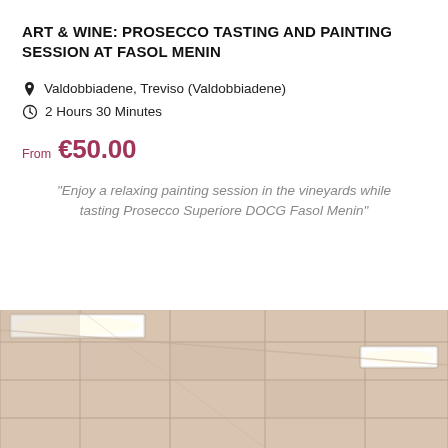ART & WINE: PROSECCO TASTING AND PAINTING SESSION AT FASOL MENIN
📍 Valdobbiadene, Treviso (Valdobbiadene)
🕐 2 Hours 30 Minutes
From €50.00
"Enjoy a relaxing painting session in the vineyards while tasting Prosecco Superiore DOCG Fasol Menin"
[Figure (photo): Interior room photo showing a drop ceiling with recessed rectangular light panels, beige/cream colored tiles.]